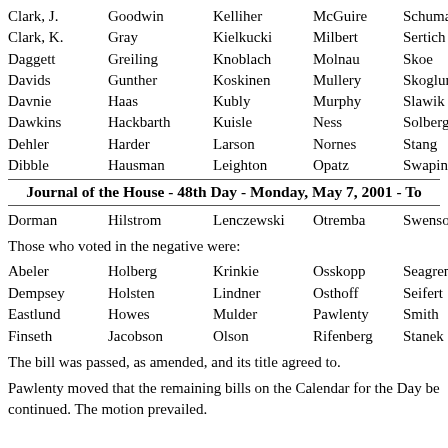Clark, J.   Goodwin   Kelliher   McGuire   Schumacher
Clark, K.   Gray   Kielkucki   Milbert   Sertich
Daggett   Greiling   Knoblach   Molnau   Skoe
Davids   Gunther   Koskinen   Mullery   Skoglund
Davnie   Haas   Kubly   Murphy   Slawik
Dawkins   Hackbarth   Kuisle   Ness   Solberg
Dehler   Harder   Larson   Nornes   Stang
Dibble   Hausman   Leighton   Opatz   Swapinski
Journal of the House - 48th Day - Monday, May 7, 2001 - To
Dorman   Hilstrom   Lenczewski   Otremba   Swenson
Those who voted in the negative were:
Abeler   Holberg   Krinkie   Osskopp   Seagren
Dempsey   Holsten   Lindner   Osthoff   Seifert
Eastlund   Howes   Mulder   Pawlenty   Smith
Finseth   Jacobson   Olson   Rifenberg   Stanek
The bill was passed, as amended, and its title agreed to.
Pawlenty moved that the remaining bills on the Calendar for the Day be continued. The motion prevailed.